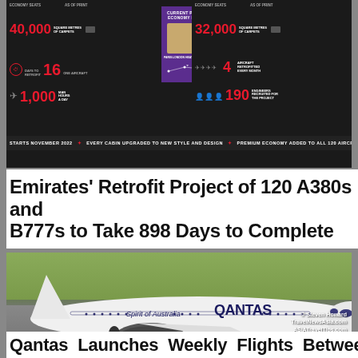[Figure (infographic): Emirates retrofit project infographic showing stats: 40,000 sq metres of carpets, 16 days to retrofit one aircraft, 1,000 man hours a day, 32,000 sq metres of carpets, 4 aircraft retrofitted every month, 190 engineers recruited for the project. Center shows current premium economy routes: Paris, London Heathrow, Sydney.]
Emirates' Retrofit Project of 120 A380s and B777s to Take 898 Days to Complete
[Figure (photo): Qantas Airbus aircraft on runway with 'Spirit of Australia QANTAS' livery. Photo credit: © Steven Howard TravelNewsAsia.com ASIATravelTips.com]
Qantas Launches Weekly Flights Between